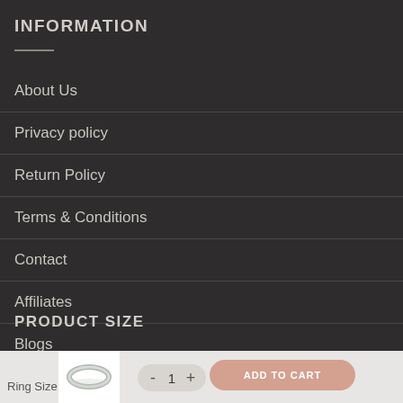INFORMATION
About Us
Privacy policy
Return Policy
Terms & Conditions
Contact
Affiliates
Blogs
PRODUCT SIZE
[Figure (illustration): A silver ring product image shown in the bottom cart bar]
Ring Size
- 1 +
ADD TO CART